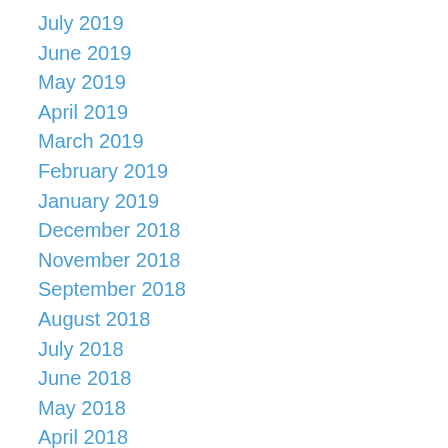July 2019
June 2019
May 2019
April 2019
March 2019
February 2019
January 2019
December 2018
November 2018
September 2018
August 2018
July 2018
June 2018
May 2018
April 2018
March 2018
February 2018
January 2018
December 2017
September 2017